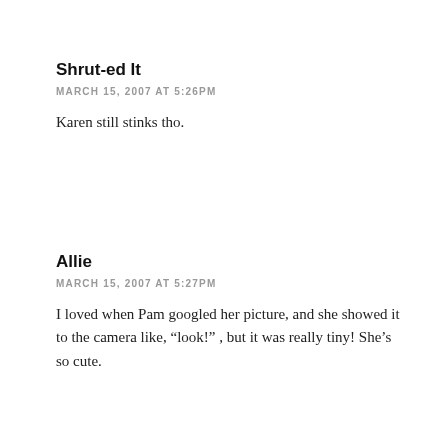Shrut-ed It
MARCH 15, 2007 AT 5:26PM
Karen still stinks tho.
Allie
MARCH 15, 2007 AT 5:27PM
I loved when Pam googled her picture, and she showed it to the camera like, “look!” , but it was really tiny! She’s so cute.